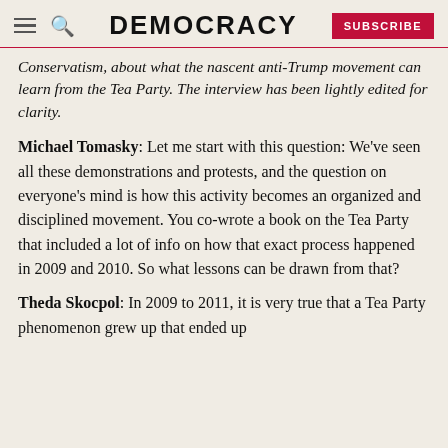DEMOCRACY
Conservatism, about what the nascent anti-Trump movement can learn from the Tea Party. The interview has been lightly edited for clarity.
Michael Tomasky: Let me start with this question: We've seen all these demonstrations and protests, and the question on everyone's mind is how this activity becomes an organized and disciplined movement. You co-wrote a book on the Tea Party that included a lot of info on how that exact process happened in 2009 and 2010. So what lessons can be drawn from that?
Theda Skocpol: In 2009 to 2011, it is very true that a Tea Party phenomenon grew up that ended up